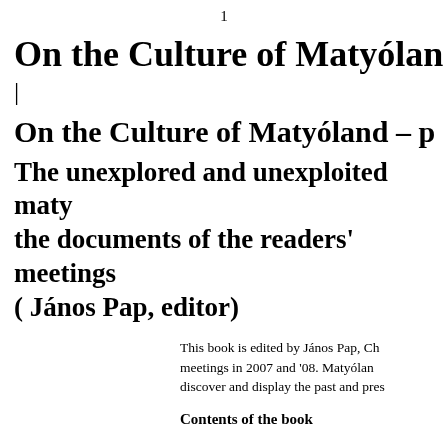1
On the Culture of Matyólan
|
On the Culture of Matyóland – p
The unexplored and unexploited maty… the documents of the readers' meetings… ( János Pap, editor)
This book is edited by János Pap, Ch… meetings in 2007 and '08. Matyólan… discover and display the past and pres…
Contents of the book